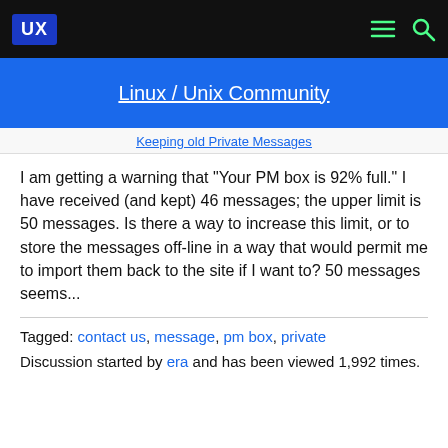UX | Linux / Unix Community
Keeping old Private Messages
I am getting a warning that "Your PM box is 92% full." I have received (and kept) 46 messages; the upper limit is 50 messages. Is there a way to increase this limit, or to store the messages off-line in a way that would permit me to import them back to the site if I want to? 50 messages seems...
Tagged: contact us, message, pm box, private
Discussion started by era and has been viewed 1,992 times.